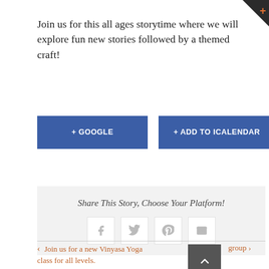Join us for this all ages storytime where we will explore fun new stories followed by a themed craft!
+ GOOGLE CALENDAR
+ ADD TO ICALENDAR
Share This Story, Choose Your Platform!
[Figure (infographic): Row of four social sharing icon buttons: Facebook (f), Twitter (bird), Pinterest (p), Email (envelope), each in a white rounded square on a light grey background]
< Join us for a new Vinyasa Yoga class for all levels.
group >